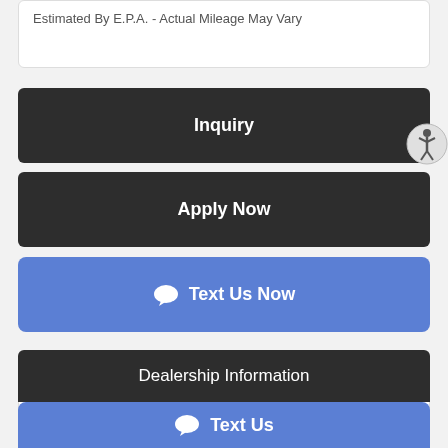Estimated By E.P.A. - Actual Mileage May Vary
Inquiry
Apply Now
Text Us Now
Dealership Information
Arlington Motors - Woodbridge
Sales Team
15610 Jefferson Davis Hwy Unit 108
Text Us